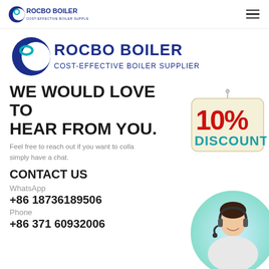ROCBO BOILER — COST-EFFECTIVE BOILER SUPPLIER (header logo + hamburger menu)
[Figure (logo): Rocbo Boiler large logo with crescent/C graphic, text ROCBO BOILER COST-EFFECTIVE BOILER SUPPLIER in dark blue]
WE WOULD LOVE TO HEAR FROM YOU.
[Figure (illustration): 10% Discount badge/sign hanging by string, red and teal text on cream background]
Feel free to reach out if you want to colla simply have a chat.
CONTACT US
WhatsApp
+86 18736189506
Phone
+86 371 60932006
[Figure (photo): Circular photo of smiling female customer service representative wearing headset]